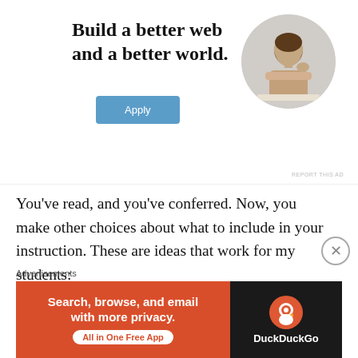[Figure (illustration): Advertisement banner showing text 'Build a better web and a better world.' with an Apply button and a circular photo of a man thinking at a desk]
You’ve read, and you’ve conferred. Now, you make other choices about what to include in your instruction. These are ideas that work for my students:
Write about their reading. Now, I’m not advocating for dialectic journals or questions about plot and setting, but it
[Figure (illustration): DuckDuckGo advertisement banner: 'Search, browse, and email with more privacy. All in One Free App' on orange background with DuckDuckGo logo on dark background]